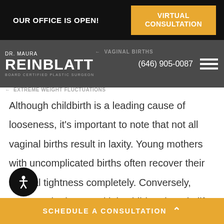OUR OFFICE IS OPEN! | VIRTUAL CONSULTATION
DR. MAURA REINBLATT – BOARD CERTIFIED PLASTIC SURGEON | (646) 905-0087
EXTREME WEIGHT FLUCTUATIONS
VAGINAL BIRTHS
Although childbirth is a leading cause of looseness, it's important to note that not all vaginal births result in laxity. Young mothers with uncomplicated births often recover their vaginal tightness completely. Conversely, women who have multiple children later in life, possibly with complications during labor, are at a greater risk of developing chronic problems.
SCHEDULE A CONSULTATION